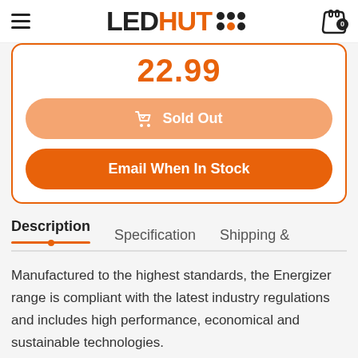[Figure (logo): LED HUT logo with dot grid pattern]
22.99
Sold Out
Email When In Stock
Description
Specification
Shipping &
Manufactured to the highest standards, the Energizer range is compliant with the latest industry regulations and includes high performance, economical and sustainable technologies.